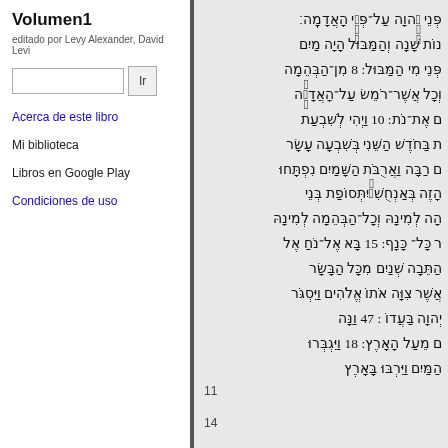Volumen1
editado por Levy Alexander, David Levi
Ir (search button)
Acerca de este libro
Mi biblioteca
Libros en Google Play
Condiciones de uso
Hebrew scripture text (Genesis flood narrative) with verse numbers 8, 10, 15, 18, 47
11
14
.